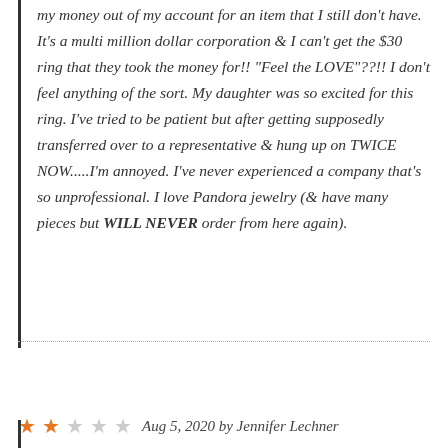my money out of my account for an item that I still don't have. It's a multi million dollar corporation & I can't get the $30 ring that they took the money for!! "Feel the LOVE"??!! I don't feel anything of the sort. My daughter was so excited for this ring. I've tried to be patient but after getting supposedly transferred over to a representative & hung up on TWICE NOW.....I'm annoyed. I've never experienced a company that's so unprofessional. I love Pandora jewelry (& have many pieces but WILL NEVER order from here again).
★★☆☆☆ Aug 5, 2020 by Jennifer Lechner